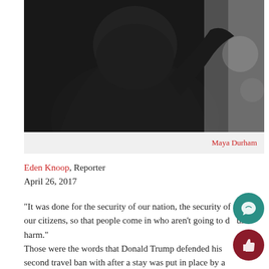[Figure (photo): Photo of a person in a black hoodie, viewed from behind, in a public indoor setting. Photo credit: Maya Durham.]
Maya Durham
Eden Knoop, Reporter
April 26, 2017
“It was done for the security of our nation, the security of our citizens, so that people come in who aren’t going to do us harm.”
Those were the words that Donald Trump defended his second travel ban with after a stay was put in place by a